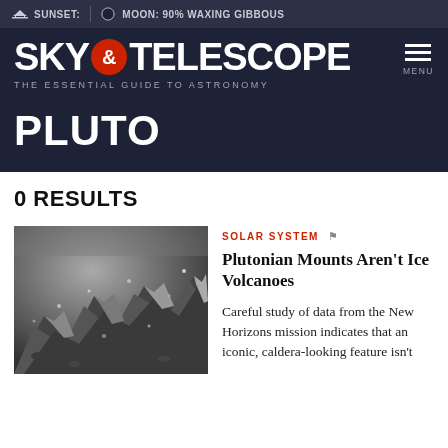SUNSET:  |  MOON: 90% WAXING GIBBOUS
SKY & TELESCOPE
THE ESSENTIAL GUIDE TO ASTRONOMY
PLUTO
0 RESULTS
[Figure (photo): Grayscale photograph of Pluto's surface showing rugged mountainous terrain]
SOLAR SYSTEM
Plutonian Mounts Aren't Ice Volcanoes
Careful study of data from the New Horizons mission indicates that an iconic, caldera-looking feature isn't